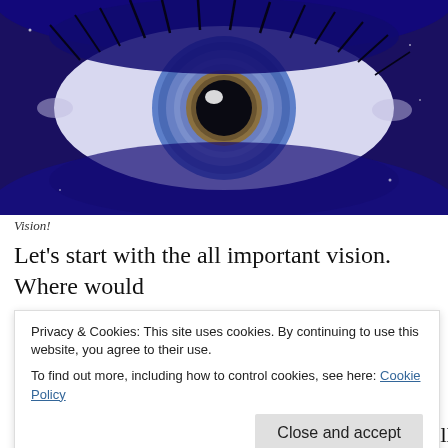[Figure (photo): Close-up macro photograph of a human eye with blue iris and dark pupil against a deep blue textured background with eyelashes.]
Vision!
Let's start with the all important vision. Where would
going. Jonathon Swift said it much more poetically
Privacy & Cookies: This site uses cookies. By continuing to use this website, you agree to their use.
To find out more, including how to control cookies, see here: Cookie Policy
Close and accept